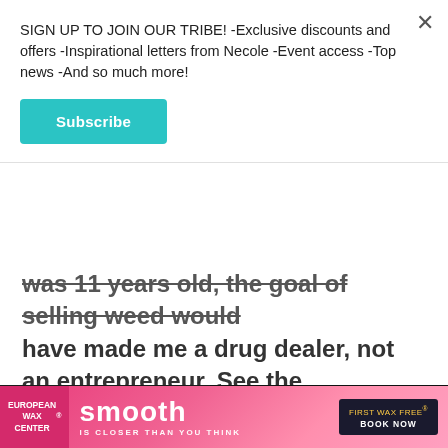SIGN UP TO JOIN OUR TRIBE! -Exclusive discounts and offers -Inspirational letters from Necole -Event access -Top news -And so much more!
Subscribe
was 11 years old, the goal of selling weed would have made me a drug dealer, not an entrepreneur. See the difference?
[Figure (screenshot): Video player showing a dark scene with shelves on the left half and a loading ad spinner on the right half, with playback controls (pause, fullscreen, mute) at the bottom]
[Figure (screenshot): European Wax Center 'smooth is closer than you think' advertisement banner with pink gradient background and 'First Wax Free - Book Now' call to action]